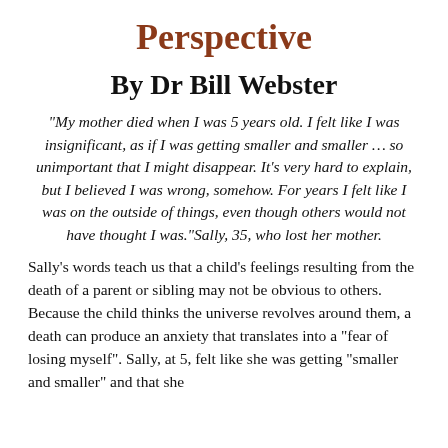Perspective
By Dr Bill Webster
“My mother died when I was 5 years old. I felt like I was insignificant, as if I was getting smaller and smaller … so unimportant that I might disappear. It’s very hard to explain, but I believed I was wrong, somehow. For years I felt like I was on the outside of things, even though others would not have thought I was.”Sally, 35, who lost her mother.
Sally’s words teach us that a child's feelings resulting from the death of a parent or sibling may not be obvious to others. Because the child thinks the universe revolves around them, a death can produce an anxiety that translates into a “fear of losing myself”. Sally, at 5, felt like she was getting “smaller and smaller” and that she